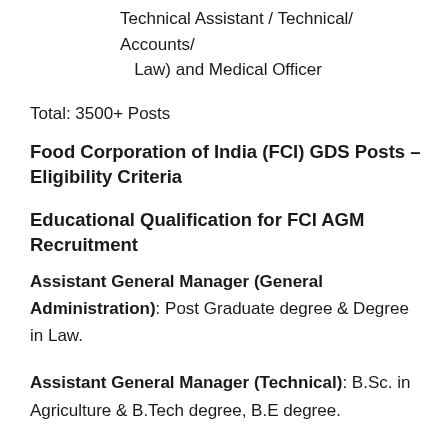Technical Assistant / Technical/ Accounts/ Law) and Medical Officer
Total: 3500+ Posts
Food Corporation of India (FCI) GDS Posts – Eligibility Criteria
Educational Qualification for FCI AGM Recruitment
Assistant General Manager (General Administration): Post Graduate degree & Degree in Law.
Assistant General Manager (Technical): B.Sc. in Agriculture & B.Tech degree, B.E degree.